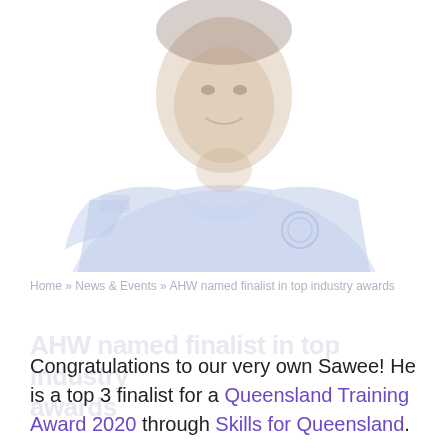[Figure (photo): A man wearing a blue work shirt with a logo/badge, smiling, shown from shoulders up, faded/washed out photo style]
Home » News & Events » AHW named finalist in top industry awards
AHW named finalist in top industry awards (ghost text behind body text)
Congratulations to our very own Sawee! He is a top 3 finalist for a Queensland Training Award 2020 through Skills for Queensland.